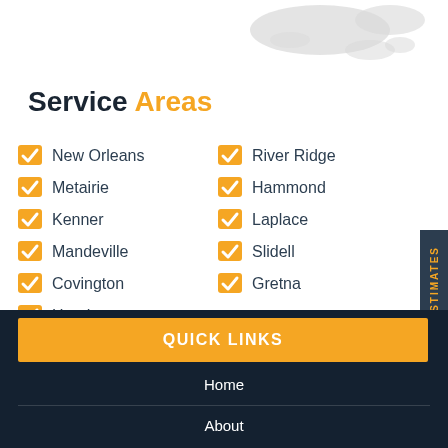[Figure (map): Partial map of the Caribbean/Gulf region in light gray]
Service Areas
New Orleans
Metairie
Kenner
Mandeville
Covington
Harahan
River Ridge
Hammond
Laplace
Slidell
Gretna
FREE ESTIMATES
QUICK LINKS
Home
About